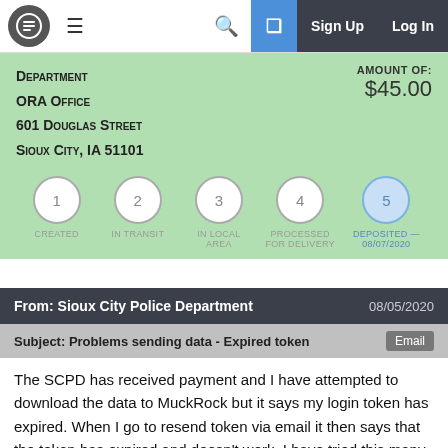Navigation bar with logo, hamburger menu, search, plus button, Sign Up, Log In
Department
ORA Office
601 Douglas Street
Sioux City, IA 51101
AMOUNT OF: $45.00
1 CREATED  2 IN TRANSIT  3 IN LOCAL AREA  4 PROCESSED FOR DELIVERY  5 DEPOSITED — 08/07/2020
From: Sioux City Police Department  08/05/2020
Subject: Problems sending data - Expired token  Email
The SCPD has received payment and I have attempted to download the data to MuckRock but it says my login token has expired. When I go to resend token via email it then says that the token has expired and doesn't work. I have tried this many time. Is there a way to get a new login token or to just